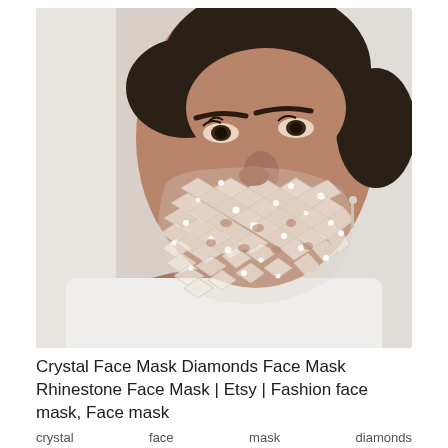[Figure (photo): A woman wearing a decorative crystal/rhinestone mesh face mask that sparkles with diamonds, wearing a white top, photographed from below against a white curtain background.]
Crystal Face Mask Diamonds Face Mask Rhinestone Face Mask | Etsy | Fashion face mask, Face mask
crystal   face   mask   diamonds